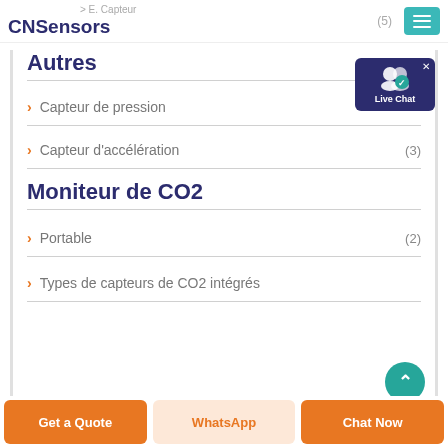CNSensors
Autres
> Capteur de pression
> Capteur d&#39;accélération (3)
Moniteur de CO2
> Portable (2)
> Types de capteurs de CO2 intégrés
Get a Quote | WhatsApp | Chat Now